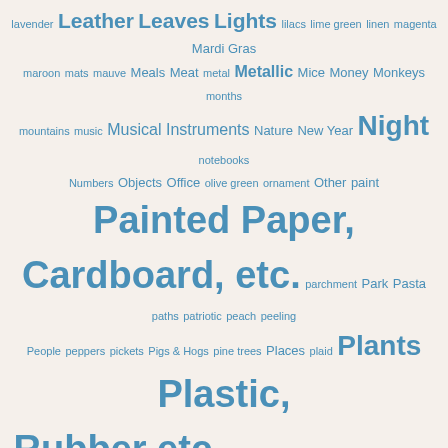[Figure (other): Tag cloud listing photography/art categories in varying font sizes, all in steel blue color on a cream background. Larger text indicates more popular tags. Tags include: lavender, Leather, Leaves, Lights, lilacs, lime green, linen, magenta, Mardi Gras, maroon, mats, mauve, Meals, Meat, metal, Metallic, Mice, Money, Monkeys, months, mountains, music, Musical Instruments, Nature, New Year, Night, notebooks, Numbers, Objects, Office, olive green, ornament, Other, paint, Painted Paper Cardboard etc., parchment, Park, Pasta, paths, patriotic, peach, peeling, People, peppers, pickets, Pigs & Hogs, pine trees, Places, plaid, Plants, Plastic Rubber etc., pleats, plush, polka dots, Presents, quilted, quilting, Rabbits, Raccoons, Random, reflections, Reptiles, ripples, Rock Stone & Dirt, rocks, Rocks and Minerals, roofs, Rooms, roses, round, rugs, rust, Saint Patrick's Day, Salad, sandstone, school, School or Office Supplies, Seals & Sea Lions, seeds, Sewing and Crafts, shades, shadows, sheeting, Shells, shingles, sidewalks, Siding and Panling, Signs, Sky, sky blue, Snacks, speckled, Sports, Spring, squares, Squirrels, Store, straw, Street, street signs, stucco, Summer, sun, sunbeam, Sunlight, sunsets, sweaters, T-shirt, tabby cats, teal, Teddy Bears, Telephones, Textures, Thanksgiving, Tile, tomatoes, Tools and Hardware, towel, Toys, tracks, trail, Transportation, trash, Trees, tulips, turquoise, tuxedo cats, Uncategorized, upholstery, Valentine's Day, vegetables, Walls and Fences, Water, Weather, windows, Windows and Doors, window shades, Winter, Wolves etc., Wooden, wool, Words, workout]